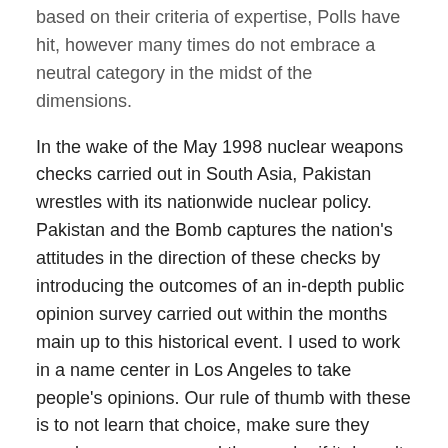based on their criteria of expertise, Polls have hit, however many times do not embrace a neutral category in the midst of the dimensions.
In the wake of the May 1998 nuclear weapons checks carried out in South Asia, Pakistan wrestles with its nationwide nuclear policy. Pakistan and the Bomb captures the nation's attitudes in the direction of these checks by introducing the outcomes of an in-depth public opinion survey carried out within the months main up to this historical event. I used to work in a name center in Los Angeles to take people's opinions. Our rule of thumb with these is to not learn that choice, make sure they supply a response, and then probe if it doesn't fit verbatim. The don't know, no opinion was needed for respondents that may give their opinion without understanding they need to choose on an choice, which was rare.
Buy Choices